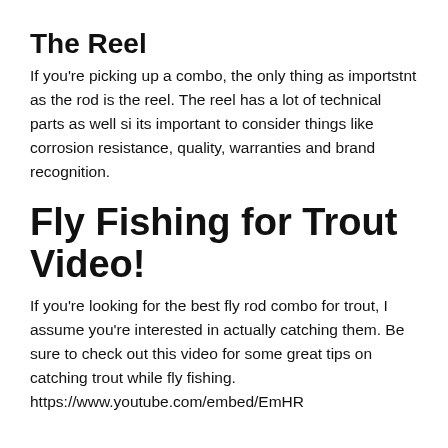The Reel
If you're picking up a combo, the only thing as importstnt as the rod is the reel. The reel has a lot of technical parts as well si its important to consider things like corrosion resistance, quality, warranties and brand recognition.
Fly Fishing for Trout Video!
If you're looking for the best fly rod combo for trout, I assume you're interested in actually catching them. Be sure to check out this video for some great tips on catching trout while fly fishing. https://www.youtube.com/embed/EmHR...